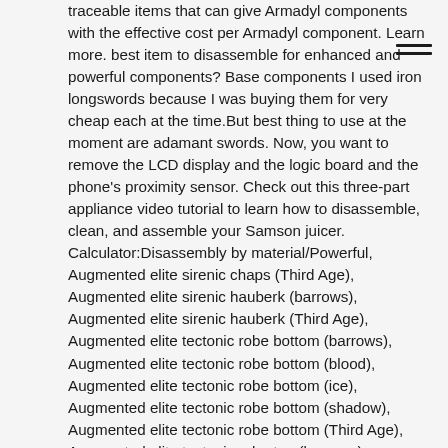traceable items that can give Armadyl components with the effective cost per Armadyl component. Learn more. best item to disassemble for enhanced and powerful components? Base components I used iron longswords because I was buying them for very cheap each at the time.But best thing to use at the moment are adamant swords. Now, you want to remove the LCD display and the logic board and the phone's proximity sensor. Check out this three-part appliance video tutorial to learn how to disassemble, clean, and assemble your Samson juicer. Calculator:Disassembly by material/Powerful, Augmented elite sirenic chaps (Third Age), Augmented elite sirenic hauberk (barrows), Augmented elite sirenic hauberk (Third Age), Augmented elite tectonic robe bottom (barrows), Augmented elite tectonic robe bottom (blood), Augmented elite tectonic robe bottom (ice), Augmented elite tectonic robe bottom (shadow), Augmented elite tectonic robe bottom (Third Age), Augmented elite tectonic robe top (barrows), Augmented elite tectonic robe top (blood), Augmented elite tectonic robe top (shadow), Augmented elite tectonic robe top (Third Age), Augmented Refined Anima Core Body of Seren, Augmented Refined Anima Core Body of Sliske, Augmented Refined Anima Core Legs of Seren, Augmented Refined Anima Core Legs of Sliske, Augmented Tectonic robe bottom (Third Age), https://runescape.fandom.com/wiki/Category:Items_that_disassemble_i